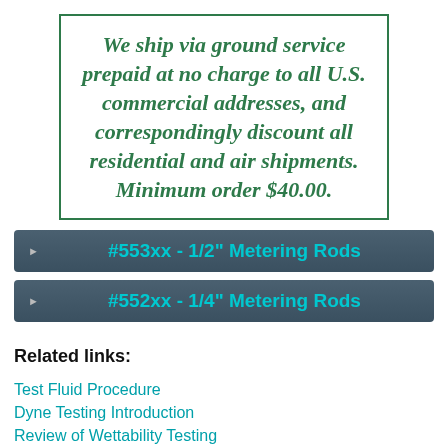We ship via ground service prepaid at no charge to all U.S. commercial addresses, and correspondingly discount all residential and air shipments. Minimum order $40.00.
#553xx - 1/2" Metering Rods
#552xx - 1/4" Metering Rods
Related links:
Test Fluid Procedure
Dyne Testing Introduction
Review of Wettability Testing